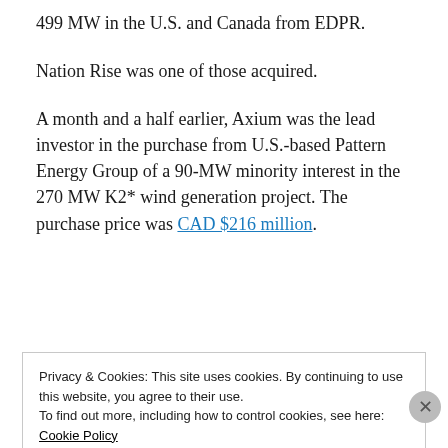499 MW in the U.S. and Canada from EDPR.
Nation Rise was one of those acquired.
A month and a half earlier, Axium was the lead investor in the purchase from U.S.-based Pattern Energy Group of a 90-MW minority interest in the 270 MW K2* wind generation project. The purchase price was CAD $216 million.
Privacy & Cookies: This site uses cookies. By continuing to use this website, you agree to their use.
To find out more, including how to control cookies, see here:
Cookie Policy
Close and accept